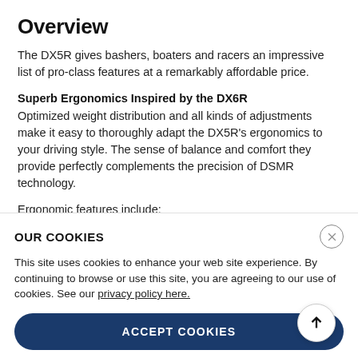Overview
The DX5R gives bashers, boaters and racers an impressive list of pro-class features at a remarkably affordable price.
Superb Ergonomics Inspired by the DX6R
Optimized weight distribution and all kinds of adjustments make it easy to thoroughly adapt the DX5R's ergonomics to your driving style. The sense of balance and comfort they provide perfectly complements the precision of DSMR technology.
Ergonomic features include:
Adjustable trigger and steering tension
Adjustable trigger position (fore-to-aft and side-to-side)
Multiple wheel drop-down options
3 Grip sizes available (1 included)
5 steering adapters available*
OUR COOKIES
This site uses cookies to enhance your web site experience. By continuing to browse or use this site, you are agreeing to our use of cookies. See our privacy policy here.
ACCEPT COOKIES